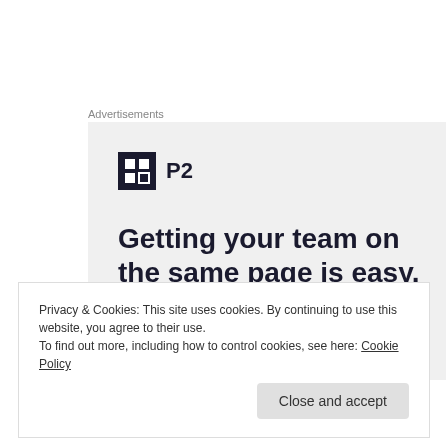Advertisements
[Figure (screenshot): P2 advertisement banner with logo, headline 'Getting your team on the same page is easy. And free.' and partial avatar images at bottom]
Privacy & Cookies: This site uses cookies. By continuing to use this website, you agree to their use.
To find out more, including how to control cookies, see here: Cookie Policy
Close and accept